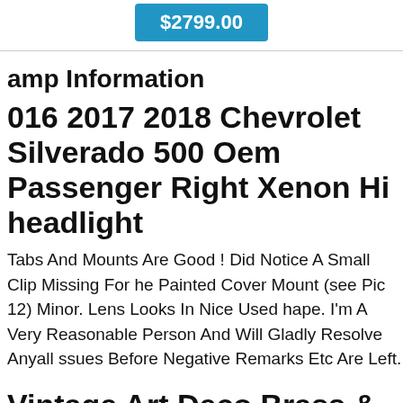[Figure (other): Blue price button showing $2799.00]
amp Information
016 2017 2018 Chevrolet Silverado 500 Oem Passenger Right Xenon Hi headlight
Tabs And Mounts Are Good ! Did Notice A Small Clip Missing For he Painted Cover Mount (see Pic 12) Minor. Lens Looks In Nice Used hape. I'm A Very Reasonable Person And Will Gladly Resolve Anyall ssues Before Negative Remarks Etc Are Left.
Vintage Art Deco Brass & Glass Rod hip Well Ceiling Fixture Hanging Li